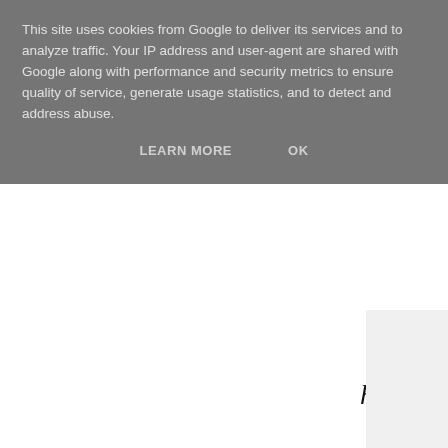This site uses cookies from Google to deliver its services and to analyze traffic. Your IP address and user-agent are shared with Google along with performance and security metrics to ensure quality of service, generate usage statistics, and to detect and address abuse.
LEARN MORE   OK
Plain clothed Technocrats hang on a tight budget bootstrapped the average cost of c